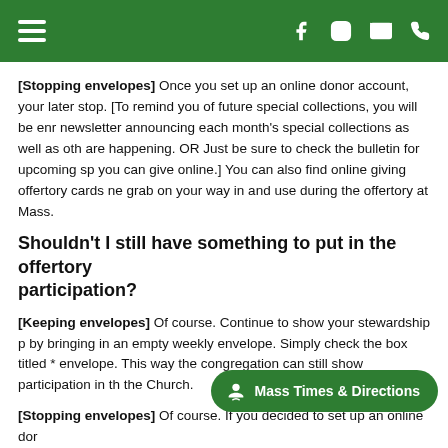[navigation bar with hamburger menu and icons for Facebook, Instagram, email, phone]
[Stopping envelopes] Once you set up an online donor account, your later stop. [To remind you of future special collections, you will be enrolled in a newsletter announcing each month's special collections as well as other things that are happening. OR Just be sure to check the bulletin for upcoming special collections you can give online.] You can also find online giving offertory cards near the door to grab on your way in and use during the offertory at Mass.
Shouldn't I still have something to put in the offertory to show participation?
[Keeping envelopes] Of course. Continue to show your stewardship participation by bringing in an empty weekly envelope. Simply check the box titled * envelope. This way the congregation can still show participation in the the Church.
[Stopping envelopes] Of course. If you decided to set up an online dor